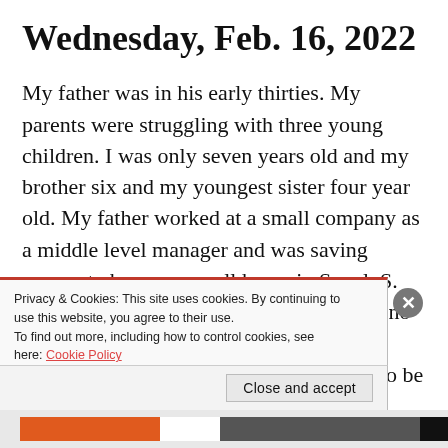Wednesday, Feb. 16, 2022
My father was in his early thirties. My parents were struggling with three young children. I was only seven years old and my brother six and my youngest sister four year old. My father worked at a small company as a middle level manager and was saving money to buy us a small home in Seoul, S. Korea. Back in 1960's and 70's there was no bank backed mortgage. If one wanted to purchase a house, the entire amount had to be paid in cash to the owner of the house. Back in Korea, it had...
Privacy & Cookies: This site uses cookies. By continuing to use this website, you agree to their use.
To find out more, including how to control cookies, see here: Cookie Policy
Close and accept